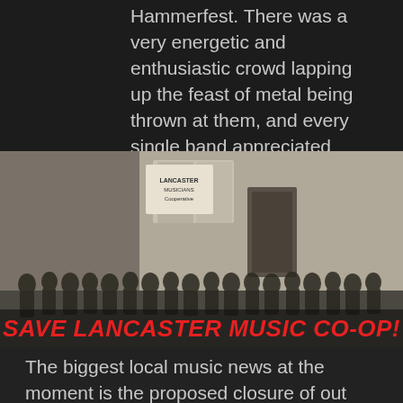Hammerfest. There was a very energetic and enthusiastic crowd lapping up the feast of metal being thrown at them, and every single band appreciated everyone coming out and braving the horrible weather to support this incredible event.
[Figure (photo): Black and white photograph of a large group of people standing in front of a brick building with a sign reading 'Lancaster Musicians Cooperative'. The image has a bold red italic text overlay at the bottom reading 'SAVE LANCASTER MUSIC CO-OP!']
The biggest local music news at the moment is the proposed closure of out practice rooms. The